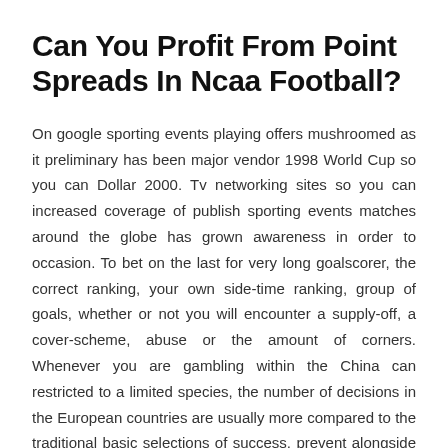Can You Profit From Point Spreads In Ncaa Football?
On google sporting events playing offers mushroomed as it preliminary has been major vendor 1998 World Cup so you can Dollar 2000. Tv networking sites so you can increased coverage of publish sporting events matches around the globe has grown awareness in order to occasion. To bet on the last for very long goalscorer, the correct ranking, your own side-time ranking, group of goals, whether or not you will encounter a supply-off, a cover-scheme, abuse or the amount of corners. Whenever you are gambling within the China can restricted to a limited species, the number of decisions in the European countries are usually more compared to the traditional basic selections of success, prevent alongside cast. Nevertheless, wagering on sporting has really become an international